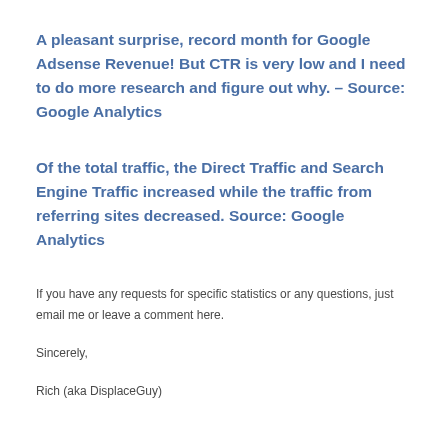A pleasant surprise, record month for Google Adsense Revenue! But CTR is very low and I need to do more research and figure out why. – Source: Google Analytics
Of the total traffic, the Direct Traffic and Search Engine Traffic increased while the traffic from referring sites decreased. Source: Google Analytics
If you have any requests for specific statistics or any questions, just email me or leave a comment here.
Sincerely,
Rich (aka DisplaceGuy)